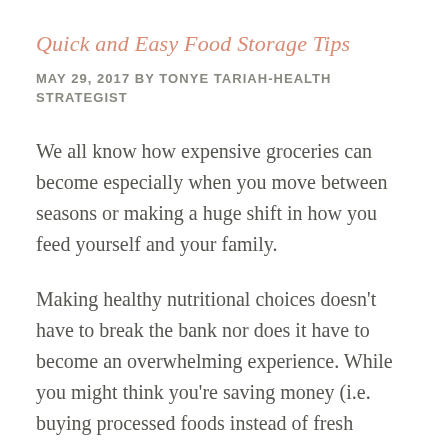Quick and Easy Food Storage Tips
MAY 29, 2017 BY TONYE TARIAH-HEALTH STRATEGIST
We all know how expensive groceries can become especially when you move between seasons or making a huge shift in how you feed yourself and your family.
Making healthy nutritional choices doesn't have to break the bank nor does it have to become an overwhelming experience. While you might think you're saving money (i.e. buying processed foods instead of fresh